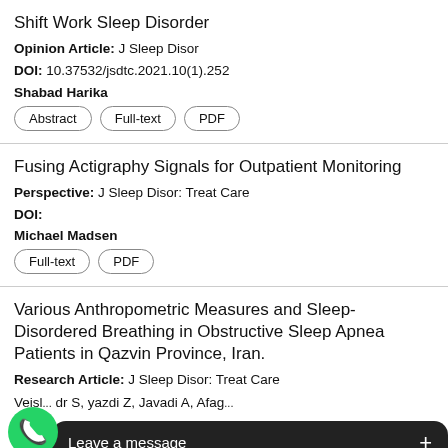Shift Work Sleep Disorder
Opinion Article: J Sleep Disor
DOI: 10.37532/jsdtc.2021.10(1).252
Shabad Harika
Abstract | Full-text | PDF
Fusing Actigraphy Signals for Outpatient Monitoring
Perspective: J Sleep Disor: Treat Care
DOI:
Michael Madsen
Full-text | PDF
Various Anthropometric Measures and Sleep-Disordered Breathing in Obstructive Sleep Apnea Patients in Qazvin Province, Iran.
Research Article: J Sleep Disor: Treat Care
Veisl... dr S, yazdi Z, Javadi A, Afag...
[Figure (other): WhatsApp chat widget overlay with green phone icon and 'Leave a message +' dark bar]